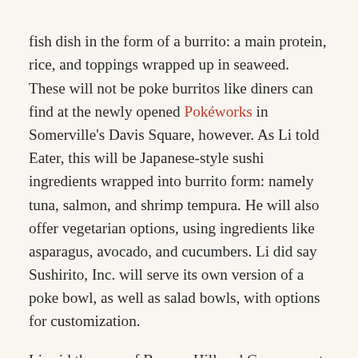fish dish in the form of a burrito: a main protein, rice, and toppings wrapped up in seaweed. These will not be poke burritos like diners can find at the newly opened Pokéworks in Somerville's Davis Square, however. As Li told Eater, this will be Japanese-style sushi ingredients wrapped into burrito form: namely tuna, salmon, and shrimp tempura. He will also offer vegetarian options, using ingredients like asparagus, avocado, and cucumbers. Li did say Sushirito, Inc. will serve its own version of a poke bowl, as well as salad bowls, with options for customization.
Li said the area of Beacon Hill and Government Center provides an opportunity to feed the business lunch crowds a food trend that's on the rise in Boston.
“I think it’s going to get really hot, because so many different locations are opening up in Cambridge, Somerville, and it’s